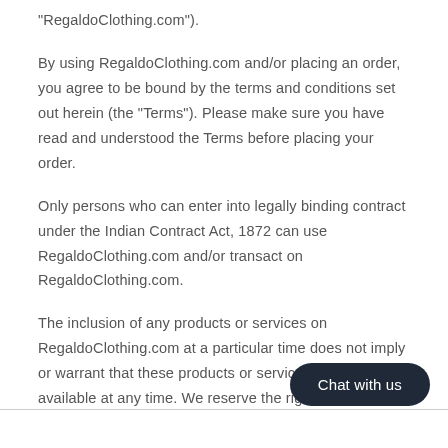“RegaldoClothing.com”).
By using RegaldoClothing.com and/or placing an order, you agree to be bound by the terms and conditions set out herein (the “Terms”). Please make sure you have read and understood the Terms before placing your order.
Only persons who can enter into legally binding contract under the Indian Contract Act, 1872 can use RegaldoClothing.com and/or transact on RegaldoClothing.com.
The inclusion of any products or services on RegaldoClothing.com at a particular time does not imply or warrant that these products or services will be available at any time. We reserve the right to discontinue any product at any time.